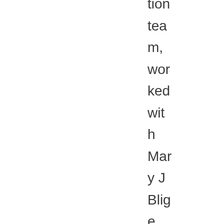tion tea m, wor ked wit h Mar y J Blig e, Are tha Fra nkli n, Mar